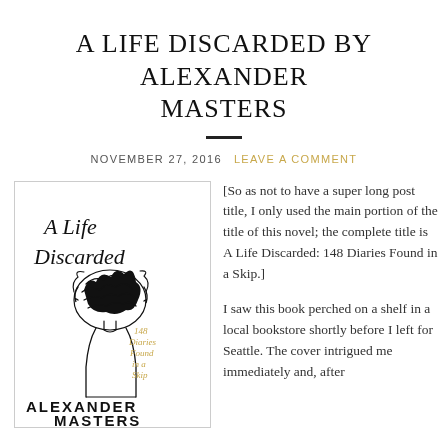A LIFE DISCARDED BY ALEXANDER MASTERS
NOVEMBER 27, 2016   LEAVE A COMMENT
[Figure (illustration): Book cover of 'A Life Discarded: 148 Diaries Found in a Skip' by Alexander Masters. Hand-drawn illustration of a figure with scribbled hair mass, text in handwritten style.]
[So as not to have a super long post title, I only used the main portion of the title of this novel; the complete title is A Life Discarded: 148 Diaries Found in a Skip.]

I saw this book perched on a shelf in a local bookstore shortly before I left for Seattle. The cover intrigued me immediately and, after